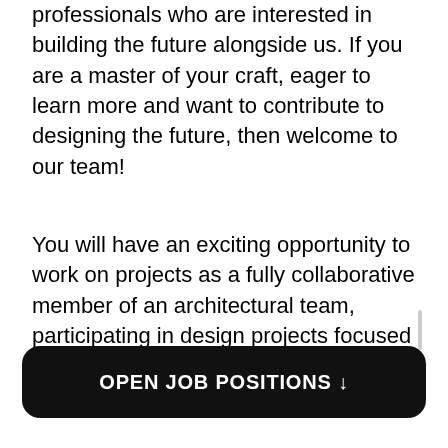…Empire is always looking for talented professionals who are interested in building the future alongside us. If you are a master of your craft, eager to learn more and want to contribute to designing the future, then welcome to our team!
You will have an exciting opportunity to work on projects as a fully collaborative member of an architectural team, participating in design projects focused on delivering a successful result for our clients.
We will inspire and encourage you to
OPEN JOB POSITIONS ↓